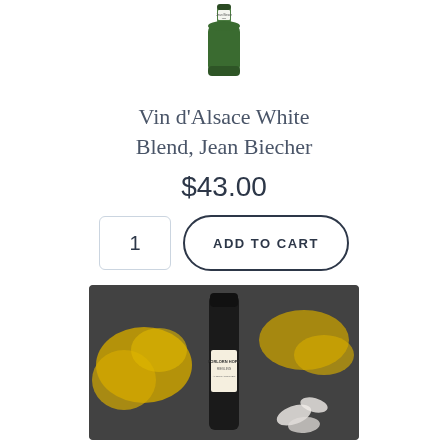[Figure (photo): Wine bottle with green glass, partial top view showing label reading Jean Biecher]
Vin d'Alsace White Blend, Jean Biecher
$43.00
1  ADD TO CART
[Figure (photo): Dark wine bottle labeled Forlorn Hope, surrounded by yellow mimosa flowers and white petals on a dark stone surface]
Riesling, Forlorn Hope 'Amerikanischen